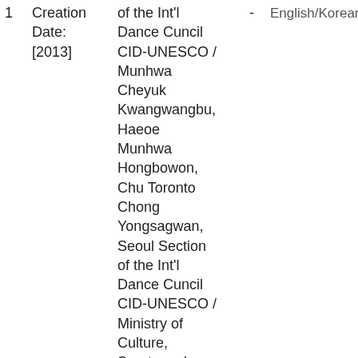| # | Creation Date | Invitation | separator | Language | Description |
| --- | --- | --- | --- | --- | --- |
| 1 | Creation Date:
[2013] | of the Int'l Dance Cuncil CID-UNESCO / Munhwa Cheyuk Kwangwangbu, Haeoe Munhwa Hongbowon, Chu Toronto Chong Yongsagwan, Seoul Section of the Int'l Dance Cuncil CID-UNESCO / Ministry of Culture, Sports and | - | English/Korean | which
held in
celebr
the 50
annive
of dipl
relatio
betwe
Korea
Canad
St. Law
Centre
the Ar
(Toron
June 2
/ Holdi
Locatio
Asian C
 |